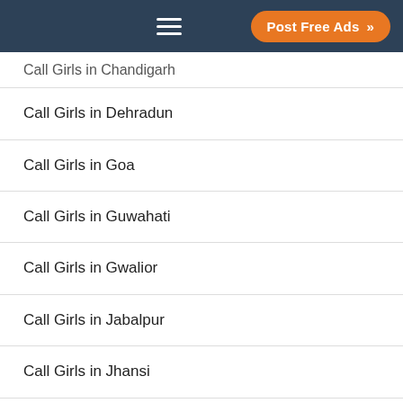Post Free Ads
Call Girls in Chandigarh
Call Girls in Dehradun
Call Girls in Goa
Call Girls in Guwahati
Call Girls in Gwalior
Call Girls in Jabalpur
Call Girls in Jhansi
Call Girls in Jammu
Call Girls in Jalandhar